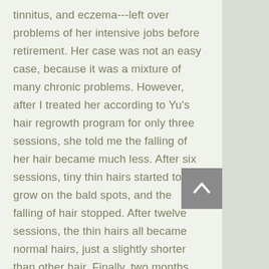tinnitus, and eczema---left over problems of her intensive jobs before retirement. Her case was not an easy case, because it was a mixture of many chronic problems. However, after I treated her according to Yu's hair regrowth program for only three sessions, she told me the falling of her hair became much less. After six sessions, tiny thin hairs started to grow on the bald spots, and the falling of hair stopped. After twelve sessions, the thin hairs all became normal hairs, just a slightly shorter than other hair. Finally, two months later, healthy hair fully grew on all the bald spots, and there were no white hair at all among the newly grown hair. The hair color was a dark, healthy color, and the hair were quite thick too. To